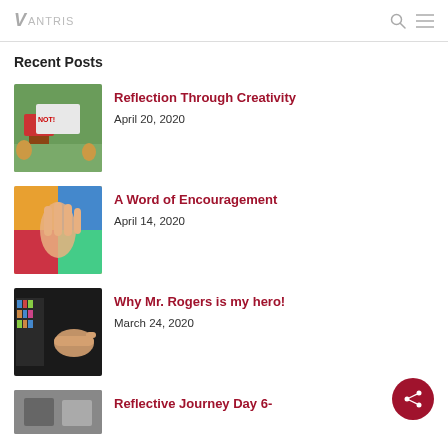Vantris (logo) | search icon | menu icon
Recent Posts
[Figure (photo): Thumbnail image of a protest or event scene with 'NOT!' sign]
Reflection Through Creativity
April 20, 2020
[Figure (photo): Thumbnail image of colorful painted hands]
A Word of Encouragement
April 14, 2020
[Figure (photo): Thumbnail image of a dark room with bookshelves and a hand]
Why Mr. Rogers is my hero!
March 24, 2020
[Figure (photo): Partial thumbnail image, gray tones]
Reflective Journey Day 6-